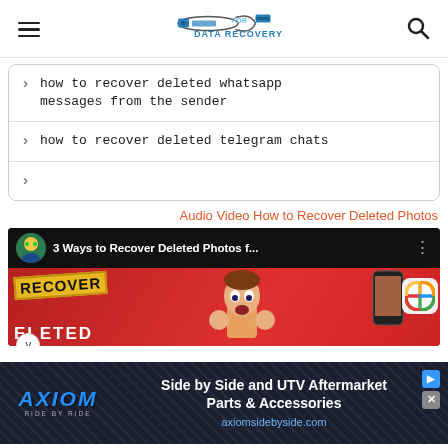FOR DATA RECOVERY
how to recover deleted whatsapp messages from the sender
how to recover deleted telegram chats
Audio Video How to Recover Deleted Photos
[Figure (screenshot): YouTube video thumbnail showing '3 Ways to Recover Deleted Photos f...' with a cartoon character surprised, a phone with a girl's photo, and a Photos app icon on a red background. Text 'RECOVER' and 'ELETED' visible.]
[Figure (photo): Advertisement banner for AXIOM RIDE BY RIDE: 'Side by Side and UTV Aftermarket Parts & Accessories' at axiomsidebyside.com]